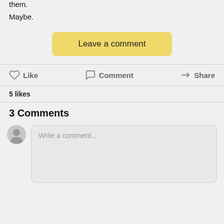them.
Maybe.
[Figure (other): Yellow 'Leave a comment' button]
Like   Comment   Share
5 likes
3 Comments
Write a comment...